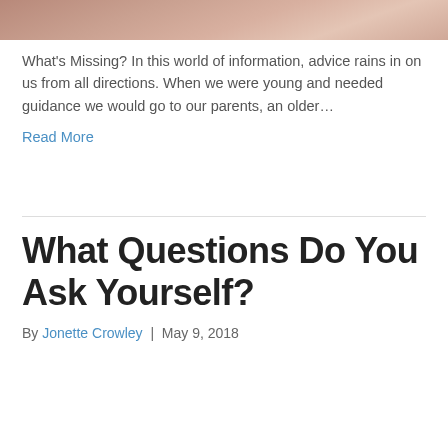[Figure (photo): Partial photo showing sandy or warm-toned surface with footprints, cropped at top]
What's Missing? In this world of information, advice rains in on us from all directions. When we were young and needed guidance we would go to our parents, an older…
Read More
What Questions Do You Ask Yourself?
By Jonette Crowley | May 9, 2018